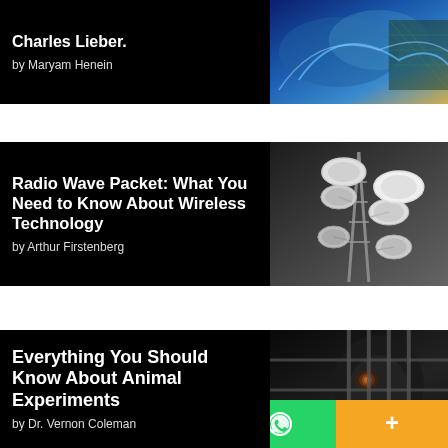[Figure (illustration): Article card with title 'Charles Lieber.' by Maryam Henein, dark background with colorful tech/science image on right]
[Figure (illustration): Article card 'Radio Wave Packet: What You Need to Know About Wireless Technology' by Arthur Firstenberg, with grayscale cell tower image on right]
[Figure (illustration): Article card 'Everything You Should Know About Animal Experiments' by Dr. Vernon Coleman, with dark image of animal behind bars on right]
[Figure (infographic): Social sharing bar with Facebook (blue), Twitter (light blue), WhatsApp (green), and More/Plus (orange) buttons]